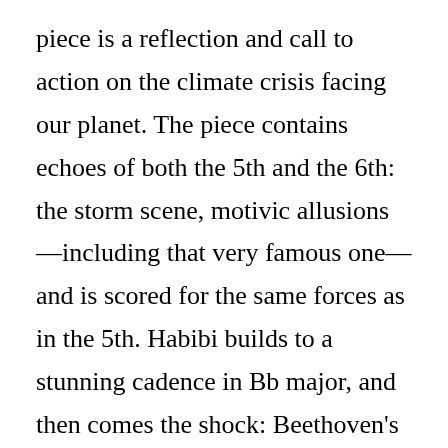piece is a reflection and call to action on the climate crisis facing our planet. The piece contains echoes of both the 5th and the 6th: the storm scene, motivic allusions—including that very famous one—and is scored for the same forces as in the 5th. Habibi builds to a stunning cadence in Bb major, and then comes the shock: Beethoven's 5th is played—attacca subito—on the final notes of Habibi's piece.

There were actually some gasps in the